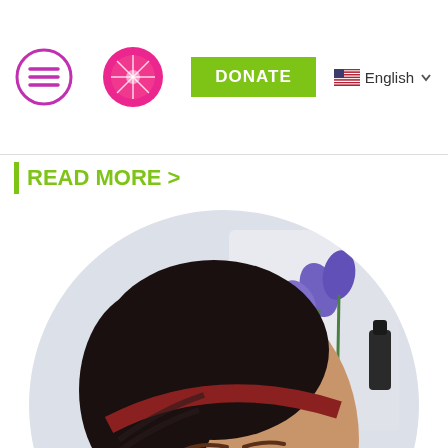Navigation header with menu icon, grapefruit logo, DONATE button, English language selector
READ MORE >
[Figure (photo): Circular cropped photo of a woman with braided hair and a dark headband, wearing a blue knit sweater, smiling slightly, with purple flowers (iris) visible in the background near a window.]